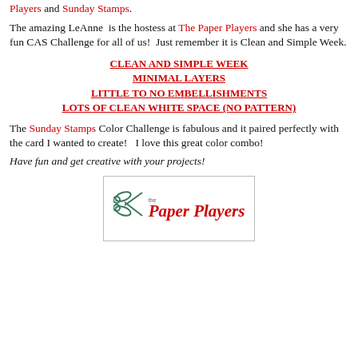Players and Sunday Stamps.
The amazing LeAnne  is the hostess at The Paper Players and she has a very fun CAS Challenge for all of us!  Just remember it is Clean and Simple Week.
CLEAN AND SIMPLE WEEK
MINIMAL LAYERS
LITTLE TO NO EMBELLISHMENTS
LOTS OF CLEAN WHITE SPACE (NO PATTERN)
The Sunday Stamps Color Challenge is fabulous and it paired perfectly with the card I wanted to create!   I love this great color combo!
Have fun and get creative with your projects!
[Figure (logo): The Paper Players logo with scissors icon and red italic script text reading 'the Paper Players']